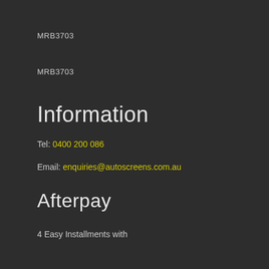MRB3703
MRB3703
Information
Tel: 0400 200 086
Email: enquiries@autoscreens.com.au
Afterpay
4 Easy Installments with